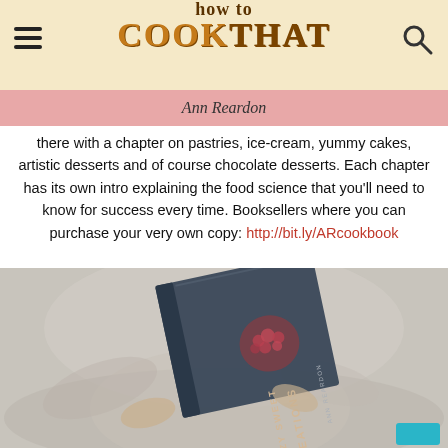how to COOK THAT
Ann Reardon
there with a chapter on pastries, ice-cream, yummy cakes, artistic desserts and of course chocolate desserts. Each chapter has its own intro explaining the food science that you'll need to know for success every time. Booksellers where you can purchase your very own copy: http://bit.ly/ARcookbook
[Figure (photo): Person holding the book 'Crazy Sweet Creations' by Ann Reardon, a dark cover book with raspberries]